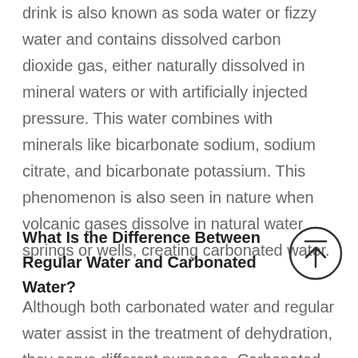drink is also known as soda water or fizzy water and contains dissolved carbon dioxide gas, either naturally dissolved in mineral waters or with artificially injected pressure. This water combines with minerals like bicarbonate sodium, sodium citrate, and bicarbonate potassium. This phenomenon is also seen in nature when volcanic gases dissolve in natural water springs or wells, creating carbonated water.
What Is the Difference Between Regular Water and Carbonated Water?
[Figure (other): Circular up-arrow icon with a horizontal line above the arrow, indicating scroll to top or back to top navigation button]
Although both carbonated water and regular water assist in the treatment of dehydration, they serve different purposes. Carbonated water is a delightful